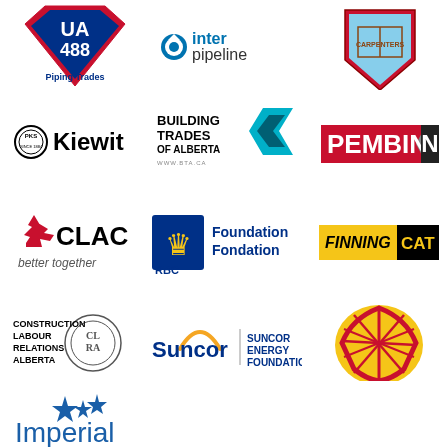[Figure (logo): UA 488 Piping Trades logo — red and blue shield with '488' and 'Piping Trades' text]
[Figure (logo): Inter Pipeline logo — blue circle with 'inter pipeline' text]
[Figure (logo): United Brotherhood of Carpenters shield logo]
[Figure (logo): Kiewit logo — circular PKS emblem with bold Kiewit text]
[Figure (logo): Building Trades of Alberta logo with teal chevron graphic]
[Figure (logo): Pembina logo — bold black text with diagonal stripe]
[Figure (logo): CLAC logo — red maple leaf with 'CLAC better together']
[Figure (logo): RBC Foundation Fondation logo — lion emblem with blue square]
[Figure (logo): Finning CAT logo — yellow and black Finning CAT banner]
[Figure (logo): Construction Labour Relations Alberta (CLRA) logo]
[Figure (logo): Suncor Energy Foundation logo]
[Figure (logo): Shell logo — red and yellow shell emblem]
[Figure (logo): Imperial logo — blue stars with blue Imperial text]